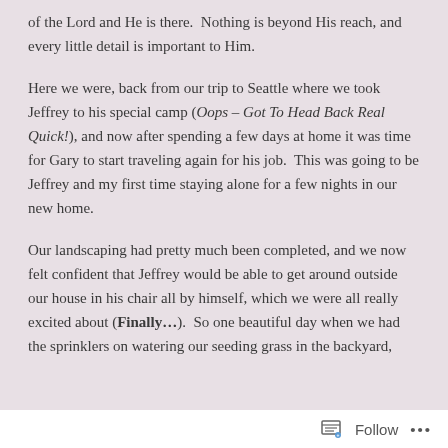of the Lord and He is there. Nothing is beyond His reach, and every little detail is important to Him.
Here we were, back from our trip to Seattle where we took Jeffrey to his special camp (Oops – Got To Head Back Real Quick!), and now after spending a few days at home it was time for Gary to start traveling again for his job. This was going to be Jeffrey and my first time staying alone for a few nights in our new home.
Our landscaping had pretty much been completed, and we now felt confident that Jeffrey would be able to get around outside our house in his chair all by himself, which we were all really excited about (Finally...). So one beautiful day when we had the sprinklers on watering our seeding grass in the backyard,
Follow ...